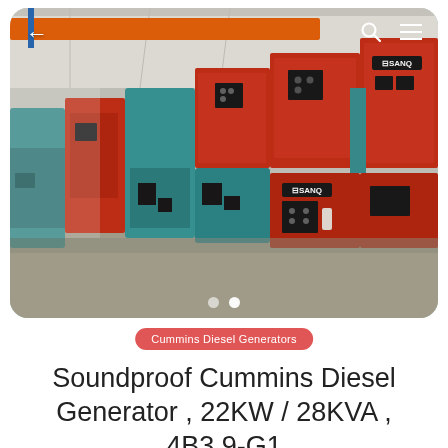[Figure (photo): Warehouse photo showing rows of red and teal/blue SANQ brand soundproof diesel generators stacked and lined up in an industrial facility. Red overhead crane visible at top. Orange/red generators on right side with SANQ control panels. Teal generators in middle and left areas.]
Cummins Diesel Generators
Soundproof Cummins Diesel Generator , 22KW / 28KVA , 4B3.9-G1